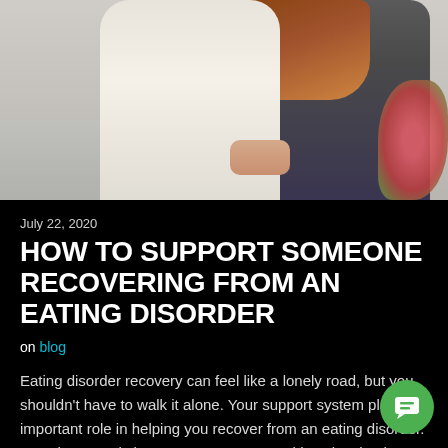[Figure (photo): Two people sitting on a couch together, one in light clothing and one in dark clothing with long red hair, with a flower/plant visible in the foreground right]
July 22, 2020
HOW TO SUPPORT SOMEONE RECOVERING FROM AN EATING DISORDER
on blog
Eating disorder recovery can feel like a lonely road, but you shouldn't have to walk it alone. Your support system plays an important role in helping you recover from an eating disorder. But what exactly is a support system, and how involved should they be in eating disorder recovery? If you or someone yo...